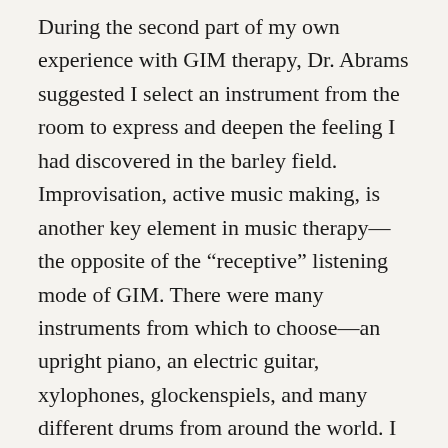During the second part of my own experience with GIM therapy, Dr. Abrams suggested I select an instrument from the room to express and deepen the feeling I had discovered in the barley field. Improvisation, active music making, is another key element in music therapy—the opposite of the "receptive" listening mode of GIM. There were many instruments from which to choose—an upright piano, an electric guitar, xylophones, glockenspiels, and many different drums from around the world. I approached the piano, which is an instrument I can play, but somehow it didn't feel right. I needed something else, something more naïve and less percussive. That's when I spied a small wooden flute, a Native American instrument it turned out, on top of the piano. Though I've never played this instrument, I picked it up and blew into it producing a soothing